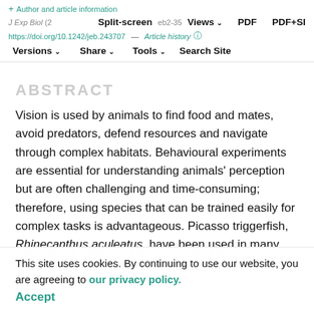+ Author and article information | J Exp Biol | Split-screen Views PDF PDF+SI | https://doi.org/10.1242/jeb.243707 Article history | Versions Share Tools Search Site
ABSTRACT
Vision is used by animals to find food and mates, avoid predators, defend resources and navigate through complex habitats. Behavioural experiments are essential for understanding animals' perception but are often challenging and time-consuming; therefore, using species that can be trained easily for complex tasks is advantageous. Picasso triggerfish, Rhinecanthus aculeatus, have been used in many behavioural studies investigating vision and navigation. However, little is known about the molecular and anatomical basis of their visual system. We addressed this knowledge gap here and behaviourally tested achromatic and chromatic acuity in terms of visual opsin. R. aculeatus possessed one rod opsin gene (RH1)
This site uses cookies. By continuing to use our website, you are agreeing to our privacy policy. Accept